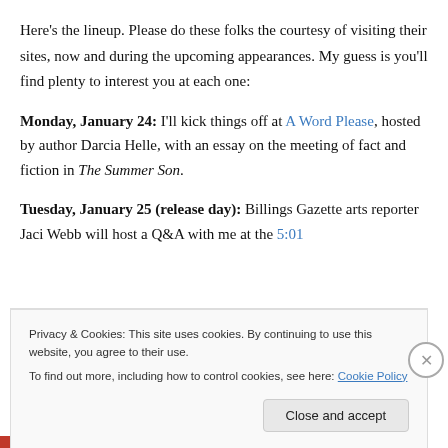Here's the lineup. Please do these folks the courtesy of visiting their sites, now and during the upcoming appearances. My guess is you'll find plenty to interest you at each one:
Monday, January 24: I'll kick things off at A Word Please, hosted by author Darcia Helle, with an essay on the meeting of fact and fiction in The Summer Son.
Tuesday, January 25 (release day): Billings Gazette arts reporter Jaci Webb will host a Q&A with me at the 5:01
Privacy & Cookies: This site uses cookies. By continuing to use this website, you agree to their use. To find out more, including how to control cookies, see here: Cookie Policy